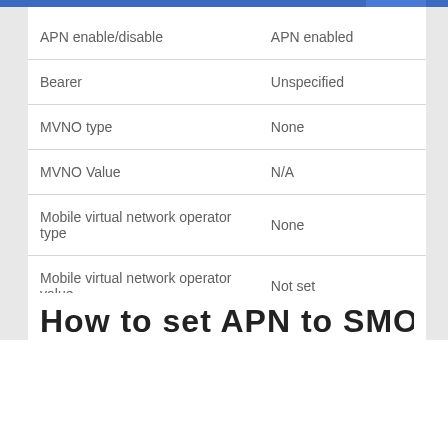| Setting | Value |
| --- | --- |
| APN enable/disable | APN enabled |
| Bearer | Unspecified |
| MVNO type | None |
| MVNO Value | N/A |
| Mobile virtual network operator type | None |
| Mobile virtual network operator value | Not set |
How to set APN to SMOBILE